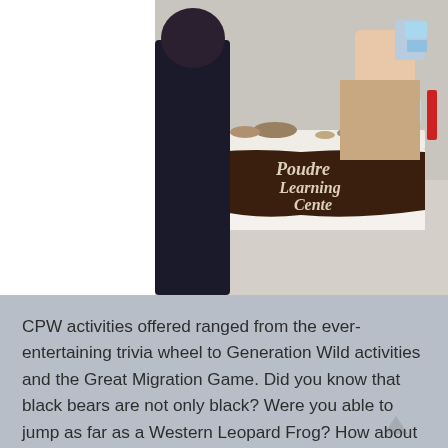[Figure (photo): People gathered around a display table for the Poudre Learning Center, with animal artifacts and educational materials on the table. A dark brown banner with italic text reading 'Poudre Learning Cente[r]' is visible on the front of the table.]
CPW activities offered ranged from the ever-entertaining trivia wheel to Generation Wild activities and the Great Migration Game. Did you know that black bears are not only black? Were you able to jump as far as a Western Leopard Frog? How about as far as an Elk!? Track identification was a great thing to check off GOCO's new list of '100 things to do before you're twelve' as well. From toddler to teen, the Great Migration game was also popular. Everyone discovered